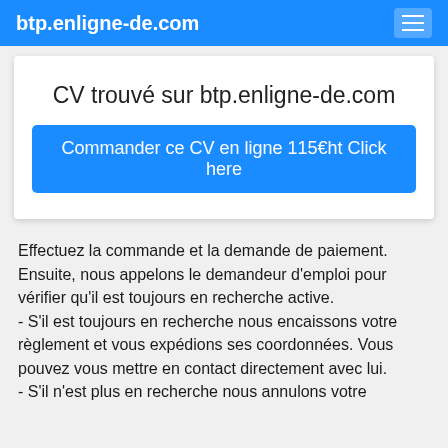btp.enligne-de.com
CV trouvé sur btp.enligne-de.com
Commander ce CV en ligne 115€ht Click here
Effectuez la commande et la demande de paiement. Ensuite, nous appelons le demandeur d'emploi pour vérifier qu'il est toujours en recherche active.
- S'il est toujours en recherche nous encaissons votre règlement et vous expédions ses coordonnées. Vous pouvez vous mettre en contact directement avec lui.
- S'il n'est plus en recherche nous annulons votre